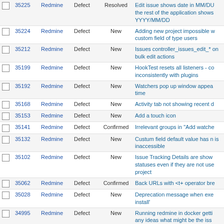|  | # | Project | Tracker | Status | Subject |
| --- | --- | --- | --- | --- | --- |
|  | 35225 | Redmine | Defect | Resolved | Edit issue shows date in MM/DD the rest of the application shows YYYY/MM/DD |
|  | 35224 | Redmine | Defect | New | Adding new project impossible w custom field of type users |
|  | 35212 | Redmine | Defect | New | Issues controller_issues_edit_* on bulk edit actions |
|  | 35199 | Redmine | Defect | New | HookTest resets all listeners - co inconsistently with plugins |
|  | 35192 | Redmine | Defect | New | Watchers pop up window appea time |
|  | 35168 | Redmine | Defect | New | Activity tab not showing recent d |
|  | 35153 | Redmine | Defect | New | Add a touch icon |
|  | 35141 | Redmine | Defect | Confirmed | Irrelevant groups in "Add watche |
|  | 35132 | Redmine | Defect | New | Custum field default value has n is inaccessible |
|  | 35102 | Redmine | Defect | New | Issue Tracking Details are show statuses even if they are not use project |
|  | 35062 | Redmine | Defect | Confirmed | Back URLs with <t+ operator bre |
|  | 35028 | Redmine | Defect | New | Deprecation message when exe install' |
|  | 34995 | Redmine | Defect | New | Running redmine in docker getti any ideas what might be the iss |
|  | 34965 | Redmine | Defect | New | UnWatch ticket does not work th Forbidden when clicked |
|  | 34957 | Redmine | Defect | New | Search issues by custom fields i |
|  | 34922 | Redmine | Defect | Confirmed | Reload whole time entries form change |
|  | 34896 | Redmine | Defect | New | PDF thumbnails are not displaye "ImageMagick PDF support ava |